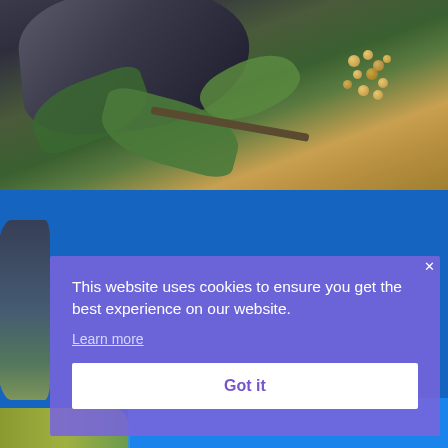[Figure (photo): Close-up photo of a dark-feathered bird (likely a crow or similar species) perched among green leaves and branches with small yellowish-green berries or flower clusters visible in the background.]
[Figure (photo): A bird partially visible on the left side against a bright blue sky background with green foliage at the bottom — part of a nature/wildlife website screenshot.]
This website uses cookies to ensure you get the best experience on our website.
Learn more
Got it